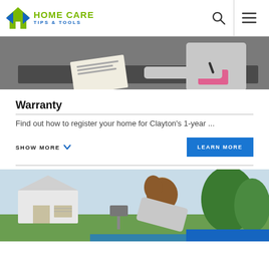HOME CARE TIPS & TOOLS
[Figure (photo): Person leaning on dark granite countertop with papers, writing or reviewing documents]
Warranty
Find out how to register your home for Clayton's 1-year ...
SHOW MORE
LEARN MORE
[Figure (photo): Woman with long brown hair leaning over, outdoors near a house and green plants, blue element visible at bottom]